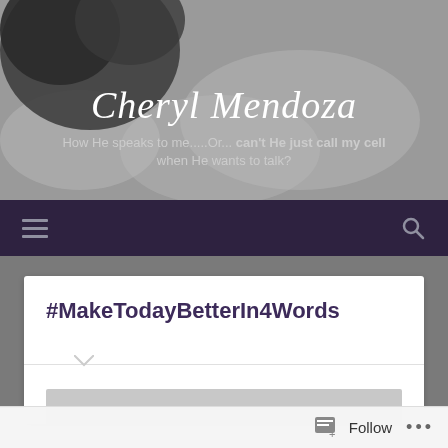[Figure (screenshot): Blog header banner with black and white sky and tree background]
Cheryl Mendoza
How He speaks to me.....Or... can't He just call my cell when He wants to talk?
[Figure (screenshot): Dark purple navigation bar with hamburger menu icon on left and search icon on right]
#MakeTodayBetterIn4Words
Follow